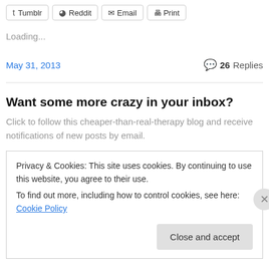Tumblr | Reddit | Email | Print
Loading...
May 31, 2013
26 Replies
Want some more crazy in your inbox?
Click to follow this cheaper-than-real-therapy blog and receive notifications of new posts by email.
Privacy & Cookies: This site uses cookies. By continuing to use this website, you agree to their use.
To find out more, including how to control cookies, see here: Cookie Policy
Close and accept